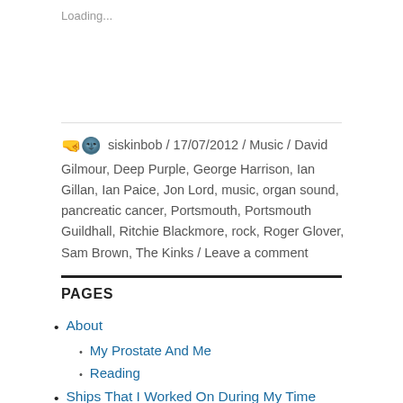Loading...
siskinbob / 17/07/2012 / Music / David Gilmour, Deep Purple, George Harrison, Ian Gillan, Ian Paice, Jon Lord, music, organ sound, pancreatic cancer, Portsmouth, Portsmouth Guildhall, Ritchie Blackmore, rock, Roger Glover, Sam Brown, The Kinks / Leave a comment
PAGES
About
My Prostate And Me
Reading
Ships That I Worked On During My Time